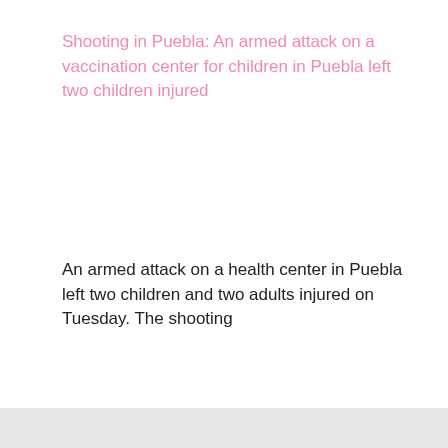Shooting in Puebla: An armed attack on a vaccination center for children in Puebla left two children injured
An armed attack on a health center in Puebla left two children and two adults injured on Tuesday. The shooting
July 1, 2022
In "Health"
Health
IMSS , Medical negligence , Medical staff , Pandemic , Puebla , State Goverment , The daisy